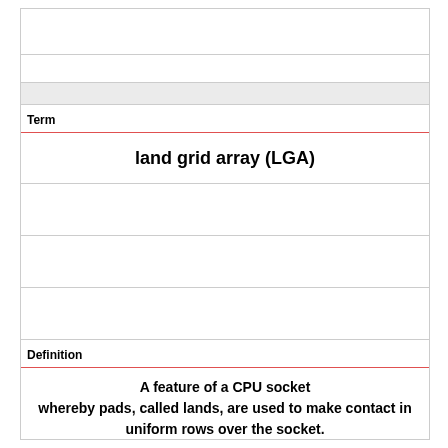Term
land grid array (LGA)
Definition
A feature of a CPU socket whereby pads, called lands, are used to make contact in uniform rows over the socket.